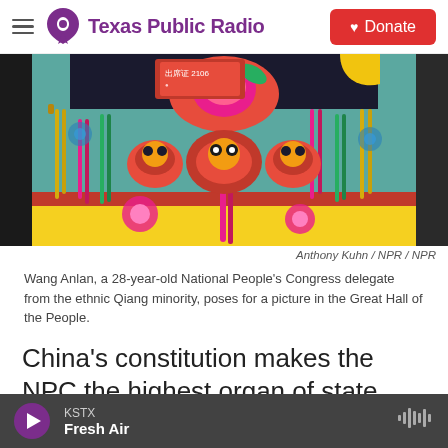Texas Public Radio — Donate
[Figure (photo): Colorful traditional Chinese ethnic Qiang minority costume with embroidered flowers, decorative animals, and colorful tassels in yellow, green, pink. A red badge reads '出席证 2106'.]
Anthony Kuhn / NPR / NPR
Wang Anlan, a 28-year-old National People's Congress delegate from the ethnic Qiang minority, poses for a picture in the Great Hall of the People.
China's constitution makes the NPC the highest organ of state power. But critics say that the legislators are unable to exercise all this power and
KSTX Fresh Air